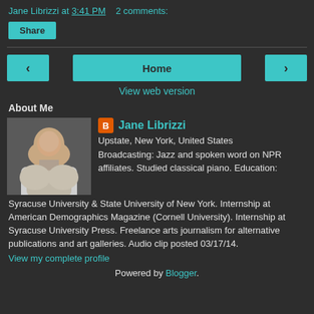Jane Librizzi at 3:41 PM   2 comments:
Share
< Home >
View web version
About Me
[Figure (photo): Profile photo of Jane Librizzi]
Jane Librizzi
Upstate, New York, United States
Broadcasting: Jazz and spoken word on NPR affiliates. Studied classical piano. Education: Syracuse University & State University of New York. Internship at American Demographics Magazine (Cornell University). Internship at Syracuse University Press. Freelance arts journalism for alternative publications and art galleries. Audio clip posted 03/17/14.
View my complete profile
Powered by Blogger.